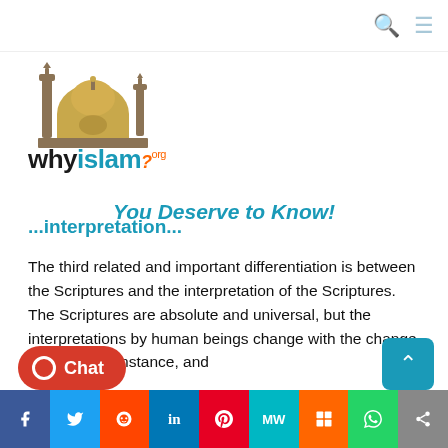[Figure (logo): WhyIslam.org logo with mosque illustration (minaret and dome) and text 'whyislam' with orange question mark, tagline 'You Deserve to Know!' in teal italic below]
...interpretation...
The third related and important differentiation is between the Scriptures and the interpretation of the Scriptures. The Scriptures are absolute and universal, but the interpretations by human beings change with the change of time, circumstance, and
Social sharing bar: Facebook, Twitter, Reddit, LinkedIn, Pinterest, MixedW, Mix, WhatsApp, Share